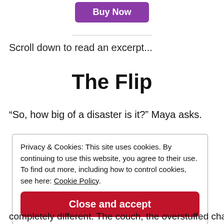[Figure (other): Purple 'Buy Now' button at top center]
Scroll down to read an excerpt...
The Flip
“So, how big of a disaster is it?” Maya asks.
Privacy & Cookies: This site uses cookies. By continuing to use this website, you agree to their use. To find out more, including how to control cookies, see here: Cookie Policy
[Figure (other): Red 'Close and accept' button]
completely different. The couch, the overstuffed chair,